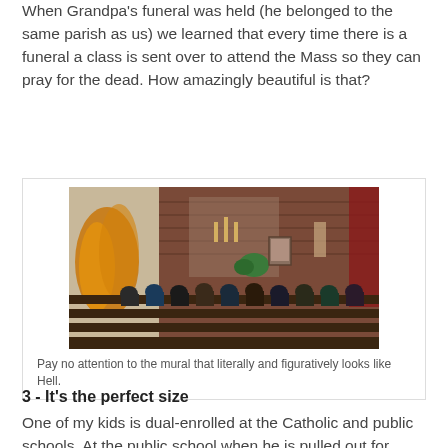When Grandpa's funeral was held (he belonged to the same parish as us) we learned that every time there is a funeral a class is sent over to attend the Mass so they can pray for the dead. How amazingly beautiful is that?
[Figure (photo): Interior of a Catholic church with students sitting in wooden pews, viewed from behind. A brick wall altar area is visible in the background with decorations. A large abstract mural is visible on the left wall.]
Pay no attention to the mural that literally and figuratively looks like Hell.
3 - It's the perfect size
One of my kids is dual-enrolled at the Catholic and public schools. At the public school when he is pulled out for extra help he is with four other kids, working at a table with one teacher. At the Catholic school he is in a class with 12 other